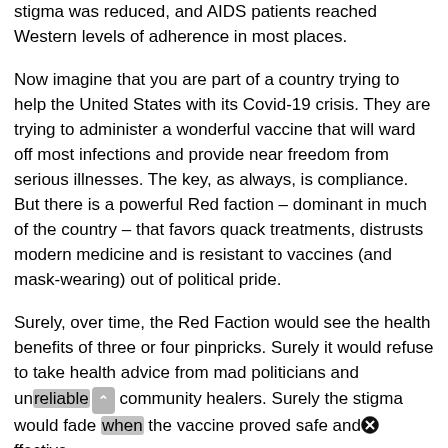stigma was reduced, and AIDS patients reached Western levels of adherence in most places.
Now imagine that you are part of a country trying to help the United States with its Covid-19 crisis. They are trying to administer a wonderful vaccine that will ward off most infections and provide near freedom from serious illnesses. The key, as always, is compliance. But there is a powerful Red faction – dominant in much of the country – that favors quack treatments, distrusts modern medicine and is resistant to vaccines (and mask-wearing) out of political pride.
Surely, over time, the Red Faction would see the health benefits of three or four pinpricks. Surely it would refuse to take health advice from mad politicians and unreliable community healers. Surely the stigma would fade when the vaccine proved safe and effective.